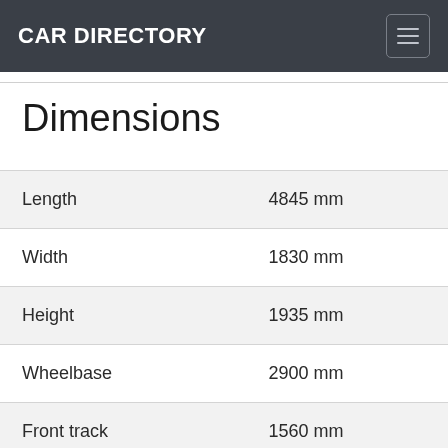CAR DIRECTORY
Dimensions
|  |  |
| --- | --- |
| Length | 4845 mm |
| Width | 1830 mm |
| Height | 1935 mm |
| Wheelbase | 2900 mm |
| Front track | 1560 mm |
| Rear (Back) track | 1540 mm |